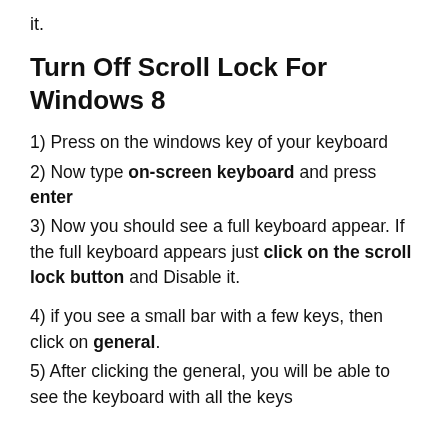it.
Turn Off Scroll Lock For Windows 8
1) Press on the windows key of your keyboard
2) Now type on-screen keyboard and press enter
3) Now you should see a full keyboard appear. If the full keyboard appears just click on the scroll lock button and Disable it.
4) if you see a small bar with a few keys, then click on general.
5) After clicking the general, you will be able to see the keyboard with all the keys